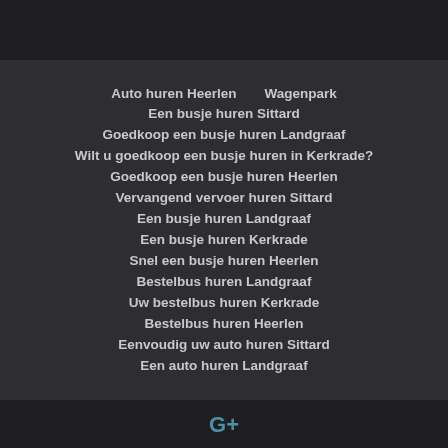Auto huren Heerlen    Wagenpark
Een busje huren Sittard
Goedkoop een busje huren Landgraaf
Wilt u goedkoop een busje huren in Kerkrade?
Goedkoop een busje huren Heerlen
Vervangend vervoer huren Sittard
Een busje huren Landgraaf
Een busje huren Kerkrade
Snel een busje huren Heerlen
Bestelbus huren Landgraaf
Uw bestelbus huren Kerkrade
Bestelbus huren Heerlen
Eenvoudig uw auto huren Sittard
Een auto huren Landgraaf